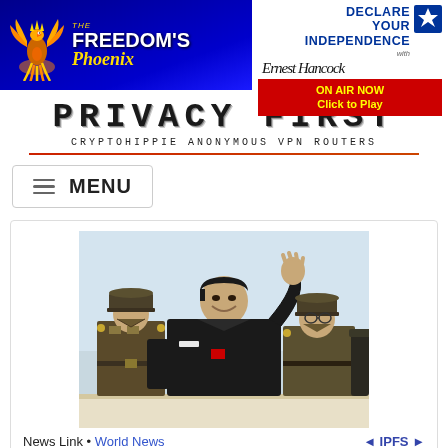[Figure (logo): Freedom's Phoenix logo with phoenix bird graphic on blue background]
[Figure (logo): Declare Your Independence with Ernest Hancock banner with ON AIR NOW Click to Play badge]
PRIVACY FIRST
Cryptohippie Anonymous VPN Routers
MENU
[Figure (photo): Photo of man in black jacket waving, flanked by military officers in uniform]
News Link • World News
◄ IPFS ►